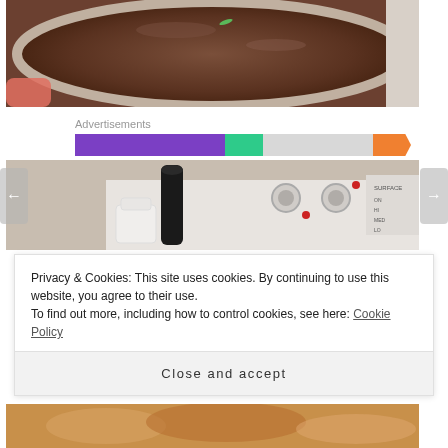[Figure (photo): Close-up photo of a dark brown liquid/sauce in a metal pot on a stove, with a hand partially visible at the bottom left.]
Advertisements
[Figure (infographic): A horizontal advertisement bar with segments in purple, green, gray, and orange colors.]
[Figure (photo): Photo of a kitchen stove top with white control dials and a black pepper mill in the background. Navigation arrows (left and right) are visible on the sides.]
Privacy & Cookies: This site uses cookies. By continuing to use this website, you agree to their use.
To find out more, including how to control cookies, see here: Cookie Policy
Close and accept
[Figure (photo): Partial view of a food dish at the bottom of the page.]